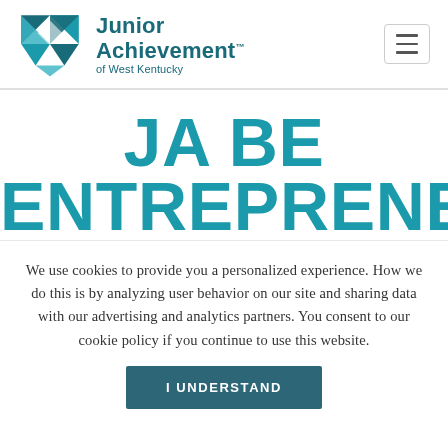[Figure (logo): Junior Achievement of West Kentucky logo with teal geometric pinwheel/arrow icon and text 'Junior Achievement™ of West Kentucky']
JA BE ENTREPRENEUR
We use cookies to provide you a personalized experience. How we do this is by analyzing user behavior on our site and sharing data with our advertising and analytics partners. You consent to our cookie policy if you continue to use this website.
I UNDERSTAND